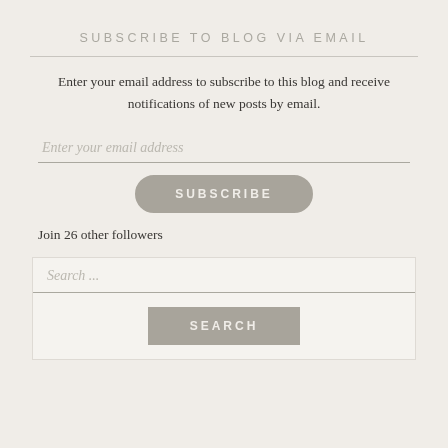SUBSCRIBE TO BLOG VIA EMAIL
Enter your email address to subscribe to this blog and receive notifications of new posts by email.
Enter your email address
SUBSCRIBE
Join 26 other followers
Search ...
SEARCH